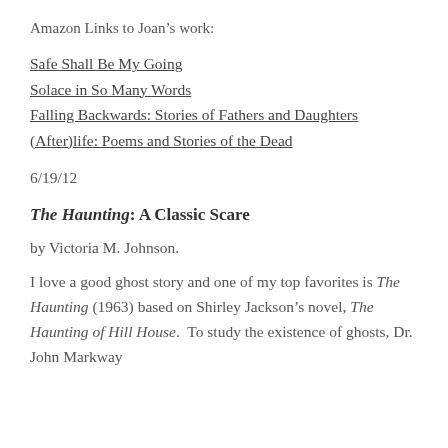Amazon Links to Joan’s work:
Safe Shall Be My Going
Solace in So Many Words
Falling Backwards: Stories of Fathers and Daughters
(After)life: Poems and Stories of the Dead
6/19/12
The Haunting: A Classic Scare
by Victoria M. Johnson.
I love a good ghost story and one of my top favorites is The Haunting (1963) based on Shirley Jackson’s novel, The Haunting of Hill House.  To study the existence of ghosts, Dr. John Markway...